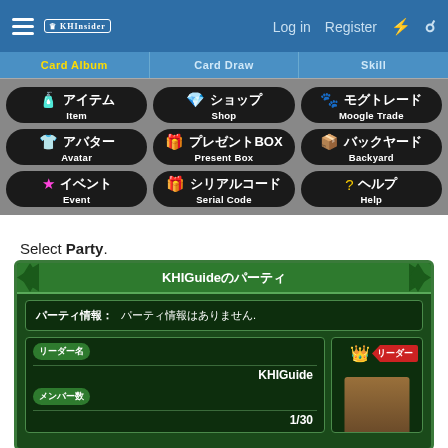KHInsider - Log in | Register
[Figure (screenshot): Game menu screenshot showing navigation tabs (Card Album, Card Draw, Skill) and 9 menu buttons in Japanese with English labels: Item, Shop, Moogle Trade, Avatar, Present Box, Backyard, Event, Serial Code, Help]
Select Party.
[Figure (screenshot): Game party screen showing 'KHIGuideのパーティ' title, party info box with 'パーティ情報: パーティ情報はありません.', leader section showing リーダー名 field with value KHIGuide, メンバー数 field with value 1/30, and a leader badge with crown icon]